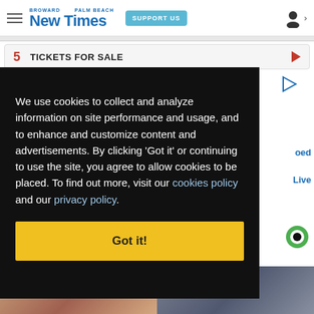Broward Palm Beach New Times — SUPPORT US
5  TICKETS FOR SALE
We use cookies to collect and analyze information on site performance and usage, and to enhance and customize content and advertisements. By clicking 'Got it' or continuing to use the site, you agree to allow cookies to be placed. To find out more, visit our cookies policy and our privacy policy.
Got it!